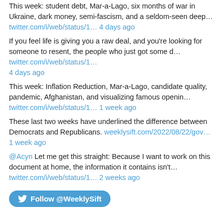This week: student debt, Mar-a-Lago, six months of war in Ukraine, dark money, semi-fascism, and a seldom-seen deep… twitter.com/i/web/status/1… 4 days ago
If you feel life is giving you a raw deal, and you're looking for someone to resent, the people who just got some d… twitter.com/i/web/status/1… 4 days ago
This week: Inflation Reduction, Mar-a-Lago, candidate quality, pandemic, Afghanistan, and visualizing famous openin… twitter.com/i/web/status/1… 1 week ago
These last two weeks have underlined the difference between Democrats and Republicans. weeklysift.com/2022/08/22/gov… 1 week ago
@Acyn Let me get this straight: Because I want to work on this document at home, the information it contains isn't… twitter.com/i/web/status/1… 2 weeks ago
[Figure (other): Follow @WeeklySift button (Twitter/social media follow button in blue with Twitter bird icon)]